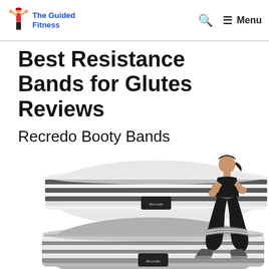The Guided Fitness — Menu
Best Resistance Bands for Glutes Reviews
Recredo Booty Bands
[Figure (photo): Product photo showing two Recredo Booty Bands (one white with dark stripes, one gray with white stripes) stacked, and a woman in athletic wear performing a squat exercise wearing the gray band around her thighs.]